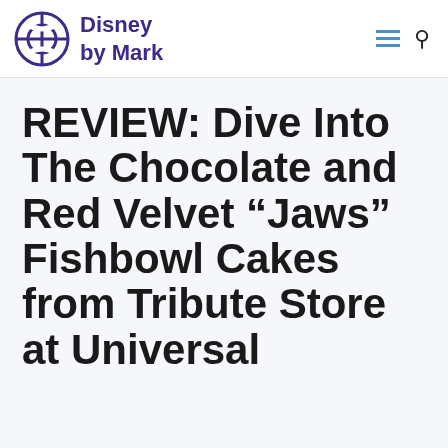Disney by Mark
REVIEW: Dive Into The Chocolate and Red Velvet “Jaws” Fishbowl Cakes from Tribute Store at Universal